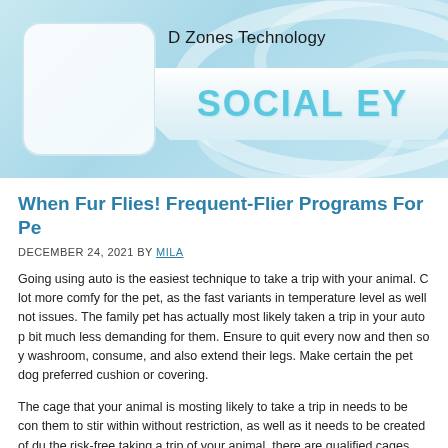D Zones Technology — SOCIAL EYE
When Fur Flies! Frequent-Flier Programs For Pe
DECEMBER 24, 2021 BY MILA
Going using auto is the easiest technique to take a trip with your animal. C lot more comfy for the pet, as the fast variants in temperature level as well not issues. The family pet has actually most likely taken a trip in your auto bit much less demanding for them. Ensure to quit every now and then so y washroom, consume, and also extend their legs. Make certain the pet dog preferred cushion or covering.
The cage that your animal is mosting likely to take a trip in needs to be con them to stir within without restriction, as well as it needs to be created of du the risk-free taking a trip of your animal, there are qualified cages that migh The room needs to have a risk-free securing device and also should have b